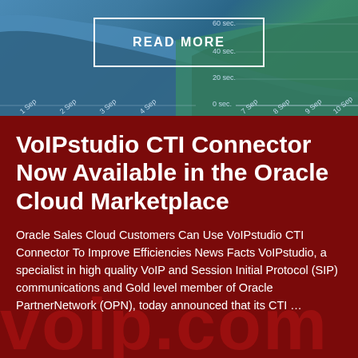[Figure (continuous-plot): Background area chart showing time series data with blue and green areas, x-axis shows Sep dates (1 Sep through 10 Sep), y-axis shows seconds (0 sec, 20 sec, 40 sec, 60 sec)]
READ MORE
VoIPstudio CTI Connector Now Available in the Oracle Cloud Marketplace
Oracle Sales Cloud Customers Can Use VoIPstudio CTI Connector To Improve Efficiencies News Facts VoIPstudio, a specialist in high quality VoIP and Session Initial Protocol (SIP) communications and Gold level member of Oracle PartnerNetwork (OPN), today announced that its CTI …